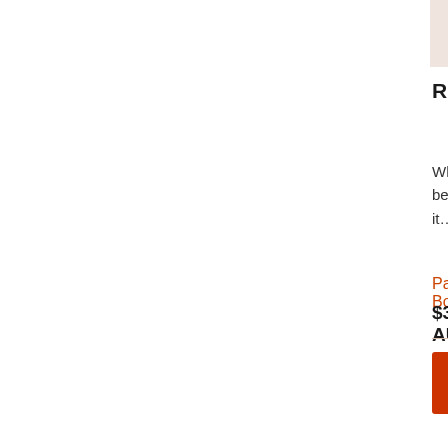[Figure (other): Book cover placeholder image for Ringleaders and Sidekicks, pinkish-beige rectangle]
RINGLEADERS AND SIDEKICKS
When Rosalind Wiseman published her bestseller Queen Bees and Wannabes in 2001, it…
Paperback Book
$32.99 AUD
[Figure (other): Book cover placeholder image for Talk Less Listen More, pinkish-beige rectangle]
TALK LESS LISTEN MORE
Talk Less Listen More provides parents with strategies and ideas to teach…
Paperback Book
$29.99 AUD
OPINION POLL
Do You Think Children Should be Given Homework Before Year 5 at Primary School?
Yes
No